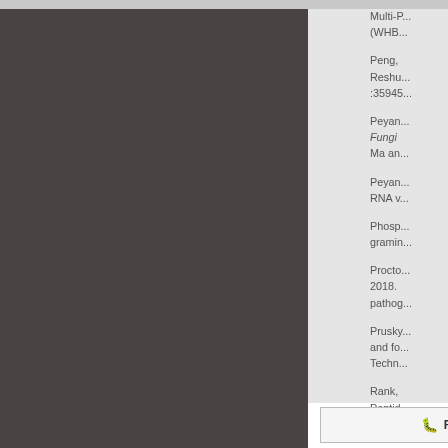Multi-P... (WHB...
Peng, Reshu... :35945...
Peyan... Fungi ... Ma an...
Peyan... RNA v...
Phosp... gramin...
Procto... 2018. pathog...
Prusky... and fo... Techn...
Rank, Peptid... Drug-R...
Report a Bug